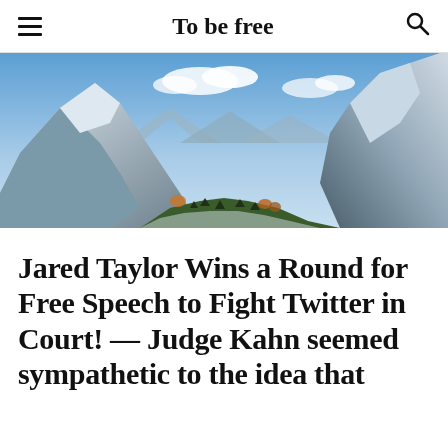To be free
[Figure (photo): Panoramic mountain landscape with snow-capped peaks, a valley, blue sky with clouds, and some autumn-colored trees at the base.]
Jared Taylor Wins a Round for Free Speech to Fight Twitter in Court! — Judge Kahn seemed sympathetic to the idea that